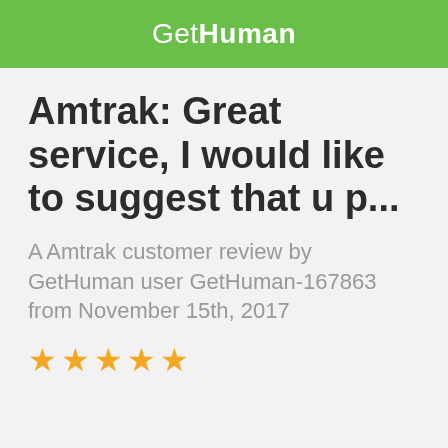GetHuman
Amtrak: Great service, I would like to suggest that u p...
A Amtrak customer review by GetHuman user GetHuman-167863 from November 15th, 2017
[Figure (other): Five gold star rating]